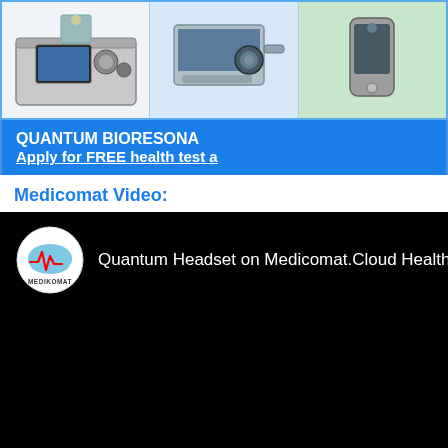[Figure (photo): Three medical device images in a row: a case with bioresonance equipment and laptop, a portable scanner/device, and a handheld device, shown in a bordered grid layout]
QUANTUM BIORESONA... Apply for FREE health test a...
Medicomat Video:
[Figure (screenshot): Black video player showing Medicomat YouTube video titled 'Quantum Headset on Medicomat.Cloud Health' with circular Medicomat logo (cloud with heartbeat line)]